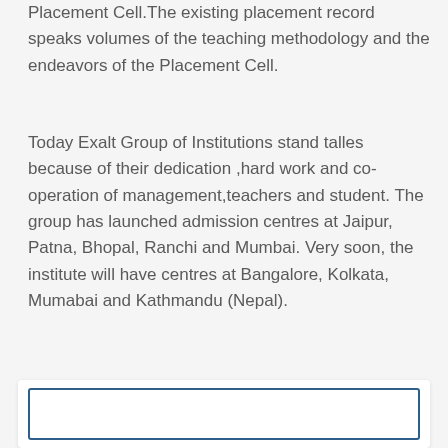Placement Cell.The existing placement record speaks volumes of the teaching methodology and the endeavors of the Placement Cell.
Today Exalt Group of Institutions stand talles because of their dedication ,hard work and co-operation of management,teachers and student. The group has launched admission centres at Jaipur, Patna, Bhopal, Ranchi and Mumbai. Very soon, the institute will have centres at Bangalore, Kolkata, Mumabai and Kathmandu (Nepal).
[Figure (other): A bordered rectangular box with white background and blue inner border, partially visible at the bottom of the page.]